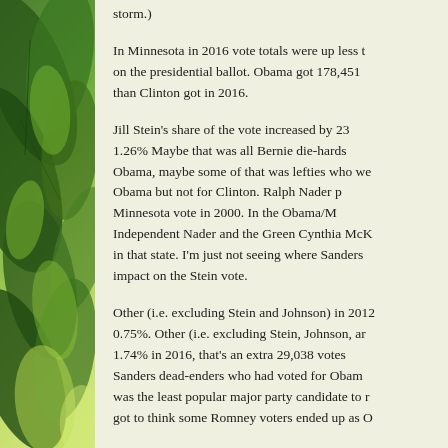[Figure (photo): Green leaves photo on the left panel as decorative background]
storm.)
In Minnesota in 2016 vote totals were up less than on the presidential ballot. Obama got 178,451 more than Clinton got in 2016.
Jill Stein's share of the vote increased by 23 1.26% Maybe that was all Bernie die-hards Obama, maybe some of that was lefties who were for Obama but not for Clinton. Ralph Nader p Minnesota vote in 2000. In the Obama/M Independent Nader and the Green Cynthia McK in that state. I'm just not seeing where Sanders impact on the Stein vote.
Other (i.e. excluding Stein and Johnson) in 2012 0.75%. Other (i.e. excluding Stein, Johnson, ar 1.74% in 2016, that's an extra 29,038 votes Sanders dead-enders who had voted for Obam was the least popular major party candidate to r got to think some Romney voters ended up as O
Now we come to Evan McMullen. Here's